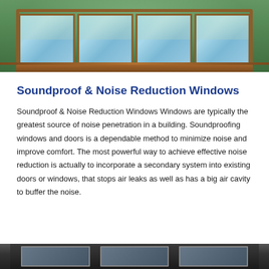[Figure (photo): Photograph of wooden-framed windows set against a green wall, showing multiple glass panes with warm wooden trim and sill, viewed from inside a room.]
Soundproof & Noise Reduction Windows
Soundproof & Noise Reduction Windows Windows are typically the greatest source of noise penetration in a building. Soundproofing windows and doors is a dependable method to minimize noise and improve comfort. The most powerful way to achieve effective noise reduction is actually to incorporate a secondary system into existing doors or windows, that stops air leaks as well as has a big air cavity to buffer the noise.
[Figure (photo): Partial photograph at bottom of page showing another set of windows, dark-framed, viewed from outside or in low light.]